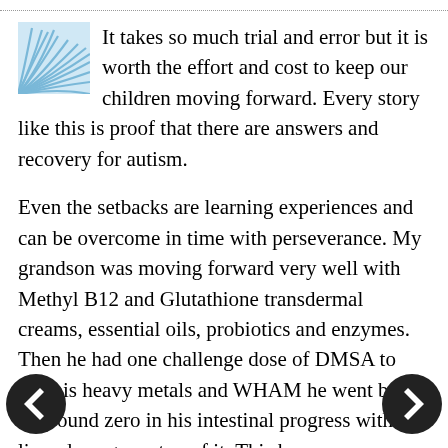[Figure (logo): Blue fan/shell shaped logo icon in the upper left of the text block]
It takes so much trial and error but it is worth the effort and cost to keep our children moving forward. Every story like this is proof that there are answers and recovery for autism.
Even the setbacks are learning experiences and can be overcome in time with perseverance. My grandson was moving forward very well with Methyl B12 and Glutathione transdermal creams, essential oils, probiotics and enzymes. Then he had one challenge dose of DMSA to test his heavy metals and WHAM he went back to ground zero in his intestinal progress with liver damage on top of it. This happens more than most people realize and it is due to the release